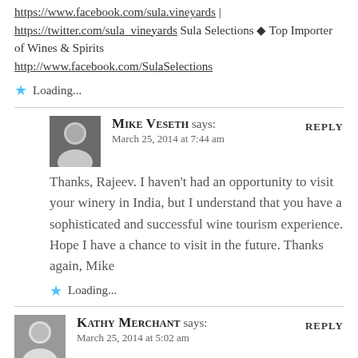https://www.facebook.com/sula.vineyards | https://twitter.com/sula_vineyards Sula Selections ◆ Top Importer of Wines & Spirits http://www.facebook.com/SulaSelections
★ Loading...
Mike Veseth says: March 25, 2014 at 7:44 am REPLY
Thanks, Rajeev. I haven't had an opportunity to visit your winery in India, but I understand that you have a sophisticated and successful wine tourism experience. Hope I have a chance to visit in the future. Thanks again, Mike
★ Loading...
Kathy Merchant says: March 25, 2014 at 5:02 am REPLY
Mike, I recently discovered your blog while looking for